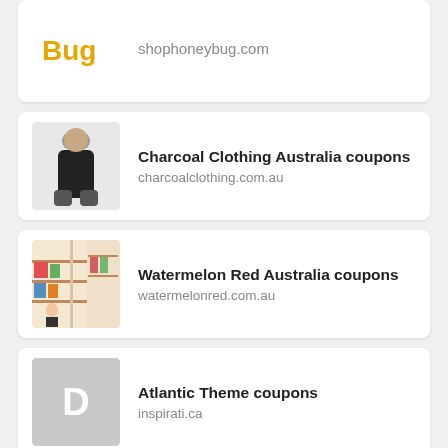[Figure (screenshot): Partial top card showing Honey Bug logo and shophoneybug.com URL]
[Figure (screenshot): Charcoal Clothing Australia coupons card with woman in black bodysuit image]
[Figure (screenshot): Watermelon Red Australia coupons card with store interior image]
[Figure (screenshot): Atlantic Theme coupons card with grey D placeholder tile and inspirati.ca URL]
[Figure (screenshot): Partial bottom card with small logo, ad close and play buttons, and blue button]